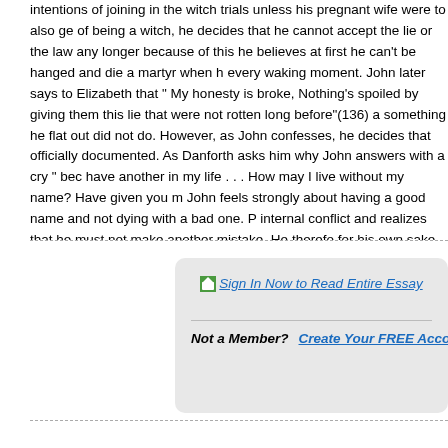intentions of joining in the witch trials unless his pregnant wife were to also ge of being a witch, he decides that he cannot accept the lie or the law any longer because of this he believes at first he can't be hanged and die a martyr when h every waking moment. John later says to Elizabeth that " My honesty is broke, Nothing's spoiled by giving them this lie that were not rotten long before"(136) a something he flat out did not do. However, as John confesses, he decides that officially documented. As Danforth asks him why John answers with a cry " bec have another in my life . . . How may I live without my name? Have given you m John feels strongly about having a good name and not dying with a bad one. P internal conflict and realizes that he must not make another mistake. He therefo for his own sake, but rather for the sake of the others. As John dies, Elizabeth v now. God forbid I take it away"(145). In Inherit the Wind, Cates taught his high s Darwin's evolutionary theory. The law stated that Creationism was the only the
[Figure (screenshot): Sign-in box with 'Sign In Now to Read Entire Essay' link and 'Not a Member? Create Your FREE Account »' prompt on a gray rounded rectangle background.]